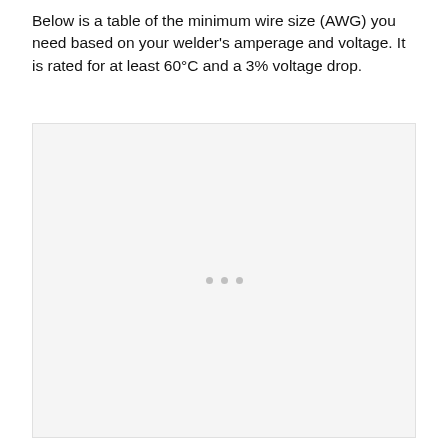Below is a table of the minimum wire size (AWG) you need based on your welder's amperage and voltage. It is rated for at least 60°C and a 3% voltage drop.
[Figure (other): Loading placeholder box with three dots indicating a table is loading]